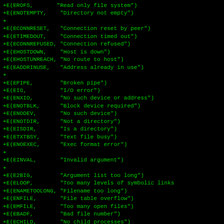+E(EROFS,       "Read only file system")
+E(ENOTEMPTY,    "Directory not empty")
+
+E(ECONNRESET,   "Connection reset by peer")
+E(ETIMEDOUT,    "Connection timed out")
+E(ECONNREFUSED, "Connection refused")
+E(EHOSTDOWN,    "Host is down")
+E(EHOSTUNREACH, "No route to host")
+E(EADDRINUSE,   "Address already in use")
+
+E(EPIPE,        "Broken pipe")
+E(EIO,          "I/O error")
+E(ENXIO,        "No such device or address")
+E(ENOTBLK,      "Block device required")
+E(ENODEV,       "No such device")
+E(ENOTDIR,      "Not a directory")
+E(EISDIR,       "Is a directory")
+E(ETXTBSY,      "Text file busy")
+E(ENOEXEC,      "Exec format error")
+
+E(EINVAL,       "Invalid argument")
+
+E(E2BIG,        "Argument list too long")
+E(ELOOP,        "Too many levels of symbolic links
+E(ENAMETOOLONG, "Filename too long")
+E(ENFILE,       "File table overflow")
+E(EMFILE,       "Too many open files")
+E(EBADF,        "Bad file number")
+E(ECHILD,       "No child processes")
+E(EFAULT,       "Bad address")
+E(EFBIG,        "File too large")